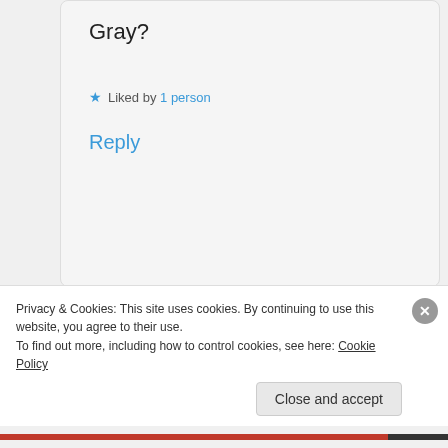Gray?
★ Liked by 1 person
Reply
[Figure (photo): Circular avatar photo of a blonde woman]
Gail
October 6, 2016 at 5:33 pm
Well, aren't you the flatterer and I like the aging portrait reference. I've been fortunate enough to rack up a first, two seconds and a
Privacy & Cookies: This site uses cookies. By continuing to use this website, you agree to their use.
To find out more, including how to control cookies, see here: Cookie Policy
Close and accept